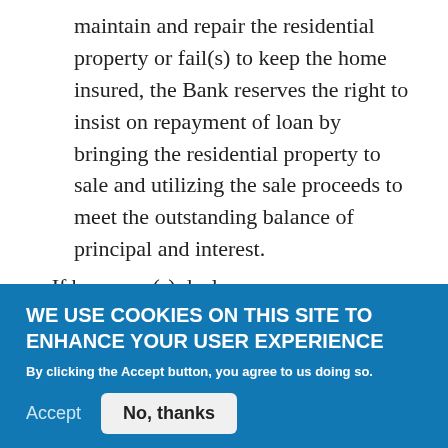maintain and repair the residential property or fail(s) to keep the home insured, the Bank reserves the right to insist on repayment of loan by bringing the residential property to sale and utilizing the sale proceeds to meet the outstanding balance of principal and interest.
If borrower(s) declare himself/herself/themselves bankrupt.
If the residential property so mortgaged to the Bank is donated or abandoned by the borrower(s).
If the borrower(s) effect changes in the residential property that affect the security of the loan for the lender. For example: renting out part or all of the house by
WE USE COOKIES ON THIS SITE TO ENHANCE YOUR USER EXPERIENCE
By clicking the Accept button, you agree to us doing so.